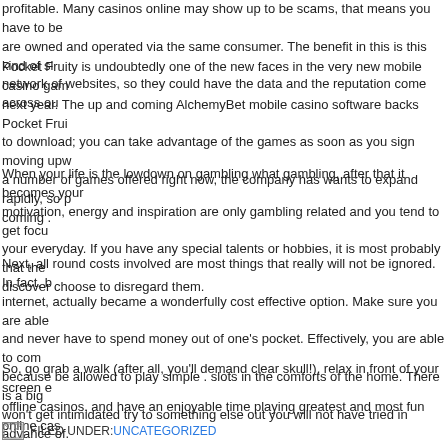profitable. Many casinos online may show up to be scams, that means you have to be careful. are owned and operated via the same consumer. The benefit in this is this kind of si... network of websites, so they could have the data and the reputation come across ou...
Pocket Fruity is undoubtedly one of the new faces in the very new mobile casino ga... next year. The up and coming AlchemyBet mobile casino software backs Pocket Fru... to download; you can take advantage of the games as soon as you sign moving upw... a number of games offered right now, the company has wants to expand rapidly, so p... coming .
When your life is the lowdown on gambling what gambling, after that it becomes you... motivation, energy and inspiration are only gambling related and you tend to get focu... your everyday. If you have any special talents or hobbies, it is most probably that the... discover choose to disregard them.
Next, all round costs involved are most things that really will not be ignored. In fact, b... internet, actually became a wonderfully cost effective option. Make sure you are able... and never have to spend money out of one's pocket. Effectively, you are able to com... because be allowed to play simple . slots in the comforts of the home. There is a big... won't get intimidated try to something else out you will not have tried in advance of.
So, go grab a walk (after all, you'll demand clear skull!), relax in front of your screen e... offline casinos, and have an enjoyable time playing greatest and most fun online cas...
FILED UNDER: UNCATEGORIZED